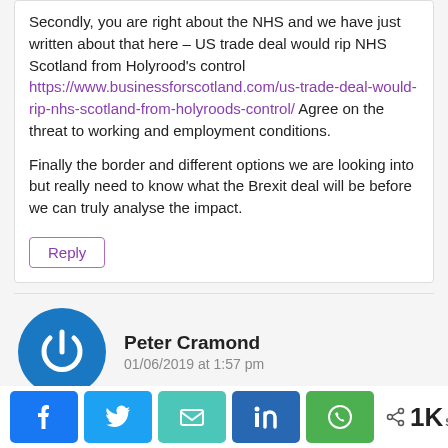Secondly, you are right about the NHS and we have just written about that here – US trade deal would rip NHS Scotland from Holyrood's control https://www.businessforscotland.com/us-trade-deal-would-rip-nhs-scotland-from-holyroods-control/ Agree on the threat to working and employment conditions.
Finally the border and different options we are looking into but really need to know what the Brexit deal will be before we can truly analyse the impact.
Reply
Peter Cramond
01/06/2019 at 1:57 pm
< 1K SHARES